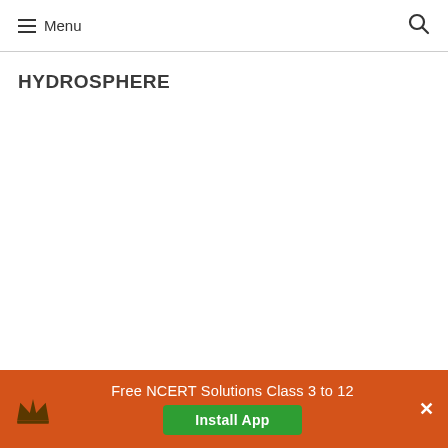Menu
HYDROSPHERE
Free NCERT Solutions Class 3 to 12
Install App